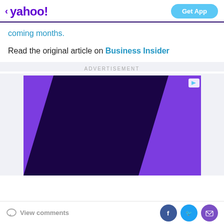< yahoo! | Get App
coming months.
Read the original article on Business Insider
ADVERTISEMENT
[Figure (illustration): Purple and dark navy abstract diagonal band advertisement graphic with a play button icon in the top right corner]
View comments | [Facebook] [Twitter] [Mail]